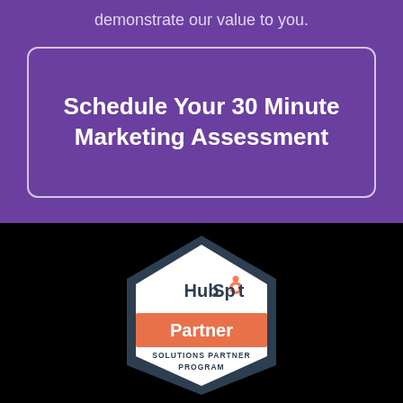demonstrate our value to you.
Schedule Your 30 Minute Marketing Assessment
[Figure (logo): HubSpot Solutions Partner Program badge — hexagonal dark navy shape with white interior, HubSpot logo text at top, orange banner with 'Partner' in white, and 'SOLUTIONS PARTNER PROGRAM' text below]